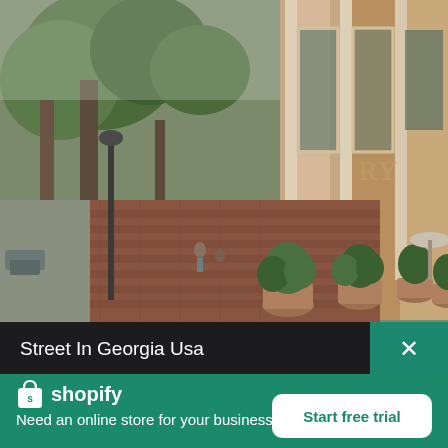[Figure (photo): Street scene in Georgia USA showing a brick sidewalk lined with potted plants and trees, with historic storefronts on the right side including a cafe with outdoor seating]
Street In Georgia Usa
[Figure (logo): Shopify logo with shopping bag icon and 'shopify' text in white]
Need an online store for your business?
Start free trial